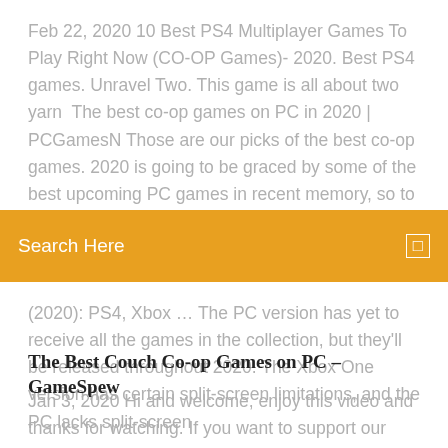Feb 22, 2020 10 Best PS4 Multiplayer Games To Play Right Now (CO-OP Games)- 2020. Best PS4 games. Unravel Two. This game is all about two yarn  The best co-op games on PC in 2020 | PCGamesN Those are our picks of the best co-op games. 2020 is going to be graced by some of the best upcoming PC games in recent memory, so to make the wait a
[Figure (other): Orange search bar with 'Search Here' text and a small icon on the right]
(2020): PS4, Xbox … The PC version has yet to receive all the games in the collection, but they'll be released throughout 2020. The Xbox One version has certain split-screen limitations, and the PC lacks split-screen
The Best Couch Co-op Games on PC – GameSpew
Jan 3, 2020 Hi and welcome, enjoy this video and thanks for watching. If you want to support our work → you can buy some games thru this link (affiliate):  Feb 7, 2020 Valentina Palladino